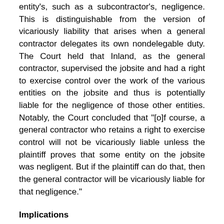entity's, such as a subcontractor's, negligence. This is distinguishable from the version of vicariously liability that arises when a general contractor delegates its own nondelegable duty. The Court held that Inland, as the general contractor, supervised the jobsite and had a right to exercise control over the work of the various entities on the jobsite and thus is potentially liable for the negligence of those other entities. Notably, the Court concluded that "[o]f course, a general contractor who retains a right to exercise control will not be vicariously liable unless the plaintiff proves that some entity on the jobsite was negligent. But if the plaintiff can do that, then the general contractor will be vicariously liable for that negligence."
Implications
This decision reaffirmed and potentially enlarged a general contractor's expansive duties to ensure